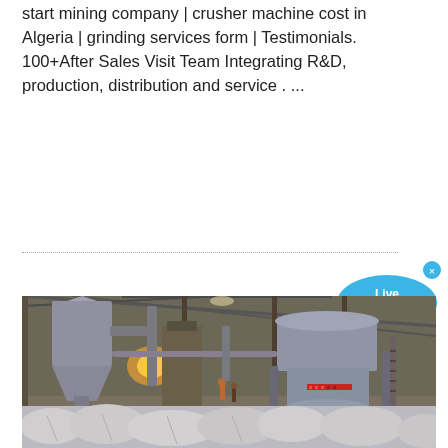start mining company | crusher machine cost in Algeria | grinding services form | Testimonials. 100+After Sales Visit Team Integrating R&D, production, distribution and service . ...
[Figure (photo): Industrial grinding mill machinery inside a factory/warehouse. Shows large industrial equipment including a conical dust collector/cyclone separator on the left and a vertical grinding mill machine on the right. White powder/material bags are stacked in the foreground. The interior is dimly lit with visible structural steel framing overhead.]